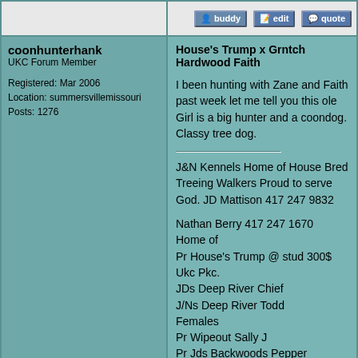[Figure (screenshot): Forum action buttons: buddy, edit, quote]
coonhunterhank
UKC Forum Member

Registered: Mar 2006
Location: summersvillemissouri
Posts: 1276
House's Trump x Grntch Hardwood Faith

I been hunting with Zane and Faith past week let me tell you this ole Girl is a big hunter and a coondog. Classy tree dog.

J&N Kennels Home of House Bred Treeing Walkers Proud to serve God. JD Mattison 417 247 9832

Nathan Berry 417 247 1670
Home of
Pr House's Trump @ stud 300$ Ukc Pkc.
JDs Deep River Chief
J/Ns Deep River Todd
Females
Pr Wipeout Sally J
Pr Jds Backwoods Pepper
Pr Jds Deep River Annie.

Young dogs pups for sale most of the
Time.
Report this post to a moderator | IP: Logged